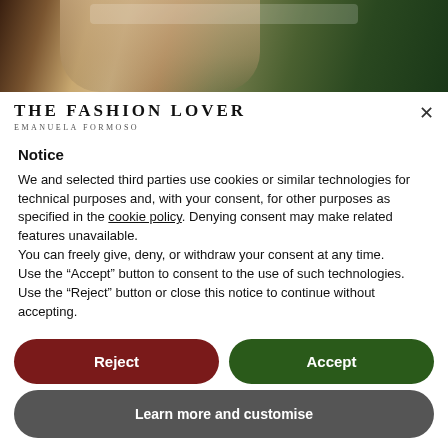[Figure (photo): Partial photo of a person at what appears to be an awards event, showing upper body with decorative dress and greenery/signage in background]
The Fashion Lover
Emanuela Formoso
Notice
We and selected third parties use cookies or similar technologies for technical purposes and, with your consent, for other purposes as specified in the cookie policy. Denying consent may make related features unavailable.
You can freely give, deny, or withdraw your consent at any time.
Use the “Accept” button to consent to the use of such technologies. Use the “Reject” button or close this notice to continue without accepting.
Reject
Accept
Learn more and customise